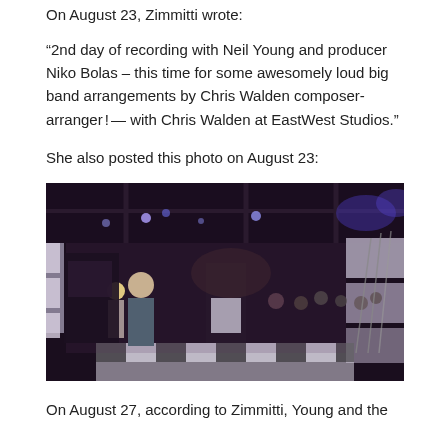On August 23, Zimmitti wrote:
“2nd day of recording with Neil Young and producer Niko Bolas – this time for some awesomely loud big band arrangements by Chris Walden composer-arranger ! — with Chris Walden at EastWest Studios.”
She also posted this photo on August 23:
[Figure (photo): Interior of a large recording studio (EastWest Studios) with stage lighting rigs, purple-tinted walls, musicians seated in the background, and a person standing in the foreground on the left.]
On August 27, according to Zimmitti, Young and the